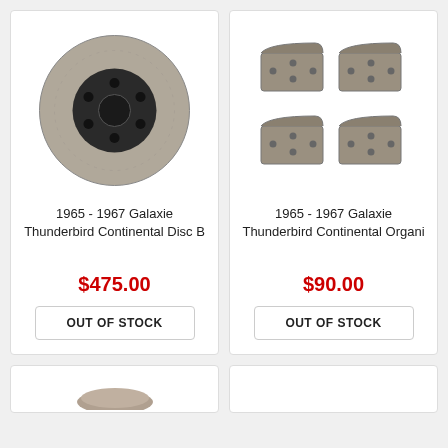[Figure (photo): Brake rotor disc, circular metal disc with black center hub and bolt holes]
1965 - 1967 Galaxie Thunderbird Continental Disc B
$475.00
OUT OF STOCK
[Figure (photo): Four brake pads arranged in a 2x2 grid, grey metallic backing plates]
1965 - 1967 Galaxie Thunderbird Continental Organi
$90.00
OUT OF STOCK